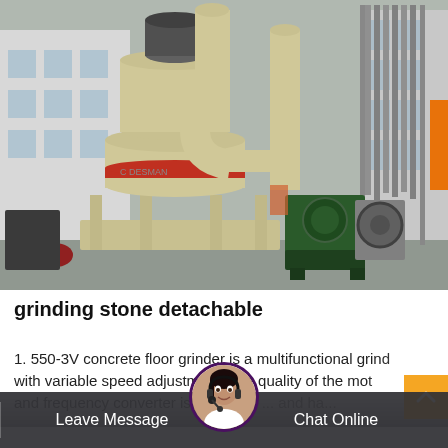[Figure (photo): Industrial grinding machine (stone mill/grinder) with large cream/beige cylindrical body, vertical pipes and cyclone separator, green blower unit, and additional machinery in background. Photographed outdoors in a factory/industrial yard setting.]
grinding stone detachable
1. 550-3V concrete floor grinder is a multifunctional grin... with variable speed adjustm... The quality of the mo... and frequency converter is... and gu... and ha...
Leave Message   Chat Online